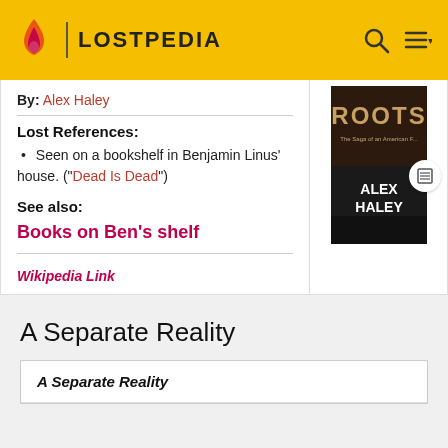LOSTPEDIA
By: Alex Haley
Lost References:
Seen on a bookshelf in Benjamin Linus' house. ("Dead Is Dead")
See also:
Books on Ben's shelf
Wikipedia Link
[Figure (photo): Book cover of Roots by Alex Haley]
A Separate Reality
| A Separate Reality |  |
| --- | --- |